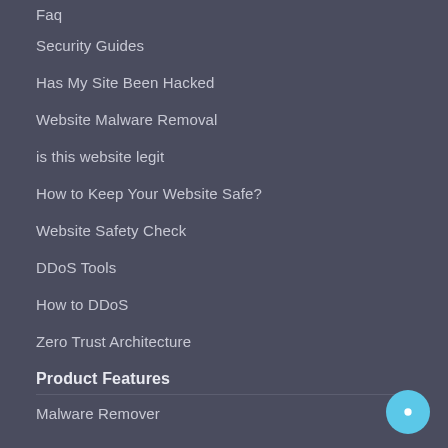Faq
Security Guides
Has My Site Been Hacked
Website Malware Removal
is this website legit
How to Keep Your Website Safe?
Website Safety Check
DDoS Tools
How to DDoS
Zero Trust Architecture
Product Features
Malware Remover